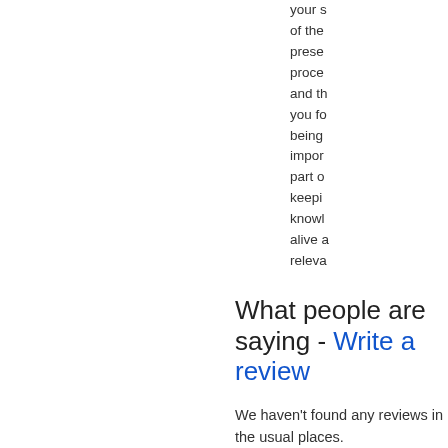your s of the prese proce and th you fo being impor part o keepi knowl alive a releva
What people are saying - Write a review
We haven't found any reviews in the usual places.